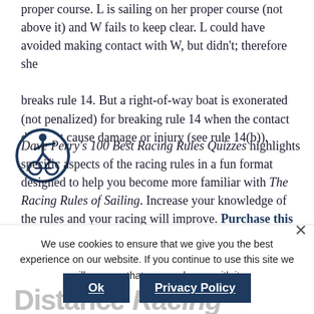proper course. L is sailing on her proper course (not above it) and W fails to keep clear. L could have avoided making contact with W, but didn't; therefore she breaks rule 14. But a right-of-way boat is exonerated (not penalized) for breaking rule 14 when the contact does not cause damage or injury (see rule 14(b)).
Dave Perry's 100 Best Racing Rules Quizzes highlights specific aspects of the racing rules in a fun format designed to help you become more familiar with The Racing Rules of Sailing. Increase your knowledge of the rules and your racing will improve. Purchase this publication today!
[Figure (illustration): Accessibility icon: circular badge with dark blue border showing a stylized figure on a bicycle/wheelchair symbol on white background]
We use cookies to ensure that we give you the best experience on our website. If you continue to use this site we will assume that you are happy with it.
Ok   Privacy Policy
Distance Racing